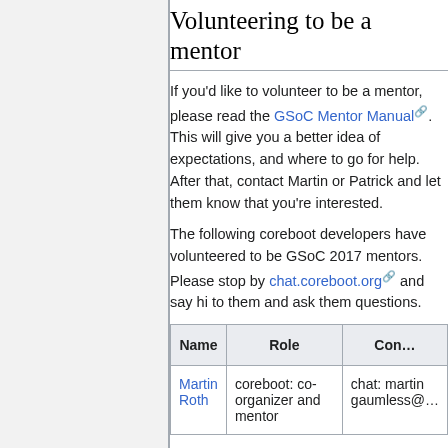Volunteering to be a mentor
If you'd like to volunteer to be a mentor, please read the GSoC Mentor Manual. This will give you a better idea of expectations, and where to go for help. After that, contact Martin or Patrick and let them know that you're interested.
The following coreboot developers have volunteered to be GSoC 2017 mentors. Please stop by chat.coreboot.org and say hi to them and ask them questions.
| Name | Role | Con… |
| --- | --- | --- |
| Martin Roth | coreboot: co-organizer and mentor | chat: martin gaumless@… |